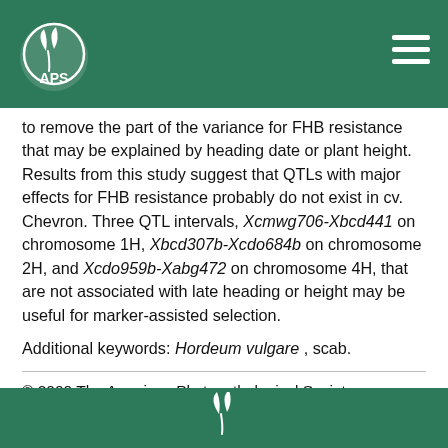APS logo header
to remove the part of the variance for FHB resistance that may be explained by heading date or plant height. Results from this study suggest that QTLs with major effects for FHB resistance probably do not exist in cv. Chevron. Three QTL intervals, Xcmwg706-Xbcd441 on chromosome 1H, Xbcd307b-Xcdo684b on chromosome 2H, and Xcdo959b-Xabg472 on chromosome 4H, that are not associated with late heading or height may be useful for marker-assisted selection.
Additional keywords: Hordeum vulgare , scab.
© 2000 The American Phytopathological Society
APS logo footer